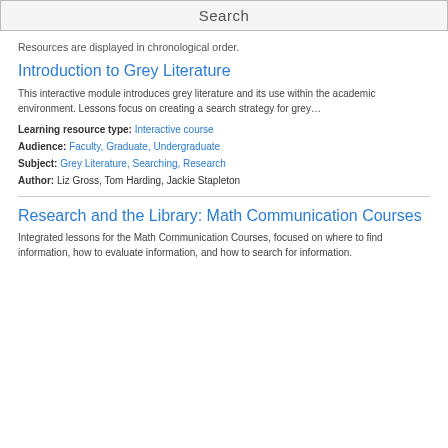Search
Resources are displayed in chronological order.
Introduction to Grey Literature
This interactive module introduces grey literature and its use within the academic environment. Lessons focus on creating a search strategy for grey…
Learning resource type: Interactive course
Audience: Faculty, Graduate, Undergraduate
Subject: Grey Literature, Searching, Research
Author: Liz Gross, Tom Harding, Jackie Stapleton
Research and the Library: Math Communication Courses
Integrated lessons for the Math Communication Courses, focused on where to find information, how to evaluate information, and how to search for information.